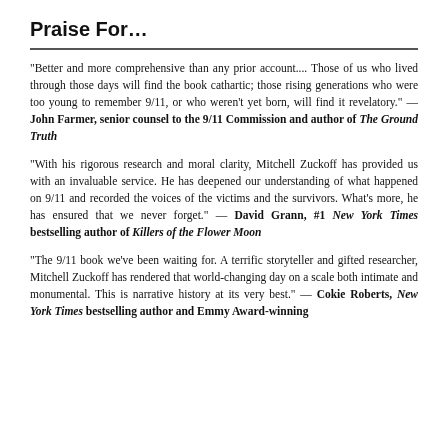Praise For…
“Better and more comprehensive than any prior account.... Those of us who lived through those days will find the book cathartic; those rising generations who were too young to remember 9/11, or who weren't yet born, will find it revelatory.” — John Farmer, senior counsel to the 9/11 Commission and author of The Ground Truth
“With his rigorous research and moral clarity, Mitchell Zuckoff has provided us with an invaluable service. He has deepened our understanding of what happened on 9/11 and recorded the voices of the victims and the survivors. What’s more, he has ensured that we never forget.” — David Grann, #1 New York Times bestselling author of Killers of the Flower Moon
“The 9/11 book we’ve been waiting for. A terrific storyteller and gifted researcher, Mitchell Zuckoff has rendered that world-changing day on a scale both intimate and monumental. This is narrative history at its very best.” — Cokie Roberts, New York Times bestselling author and Emmy Award-winning